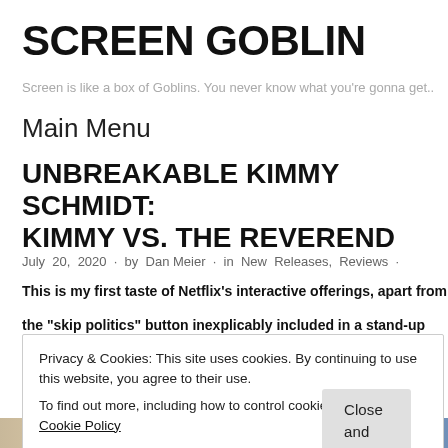SCREEN GOBLIN
Screen is like a box of Goblins. You never know what you’re gonna get..
Main Menu
UNBREAKABLE KIMMY SCHMIDT: KIMMY VS. THE REVEREND
July 20, 2020 · by Dan Meier · in New Releases, Reviews ·
This is my first taste of Netflix’s interactive offerings, apart from the “skip politics” button inexplicably included in a stand-up
Privacy & Cookies: This site uses cookies. By continuing to use this website, you agree to their use.
To find out more, including how to control cookies, see here: Cookie Policy
Close and accept